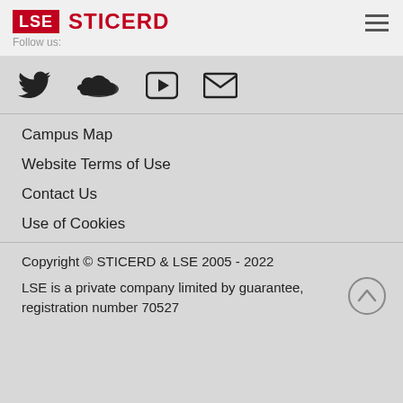LSE STICERD
Follow us:
[Figure (other): Social media icons: Twitter bird, SoundCloud cloud, YouTube play button, email envelope]
Campus Map
Website Terms of Use
Contact Us
Use of Cookies
Copyright © STICERD & LSE 2005 - 2022
LSE is a private company limited by guarantee, registration number 70527